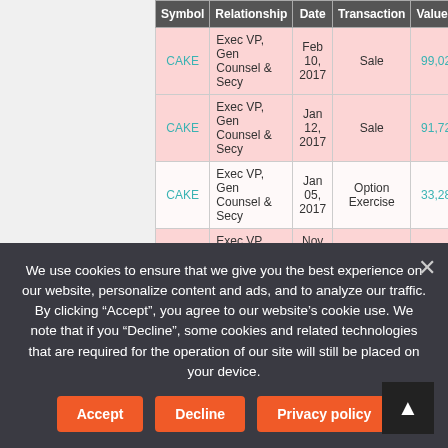| Symbol | Relationship | Date | Transaction | Value($) |
| --- | --- | --- | --- | --- |
| CAKE | Exec VP, Gen Counsel & Secy | Feb 10, 2017 | Sale | 99,024 |
| CAKE | Exec VP, Gen Counsel & Secy | Jan 12, 2017 | Sale | 91,721 |
| CAKE | Exec VP, Gen Counsel & Secy | Jan 05, 2017 | Option Exercise | 33,288 |
| CAKE | Exec VP, Gen Counsel & Secy | Nov 22, 2016 | Sale | 35,400 |
We use cookies to ensure that we give you the best experience on our website, personalize content and ads, and to analyze our traffic. By clicking "Accept", you agree to our website's cookie use. We note that if you "Decline", some cookies and related technologies that are required for the operation of our site will still be placed on your device.